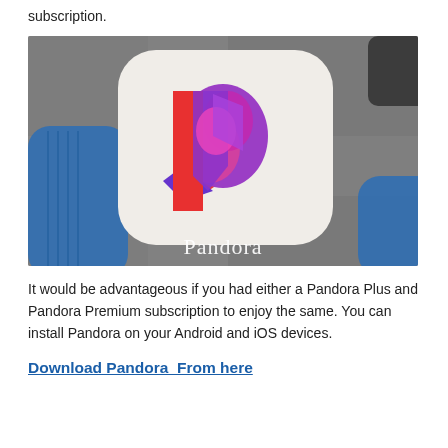subscription.
[Figure (photo): Close-up photo of the Pandora app icon on a smartphone screen, showing the colorful P logo on a white rounded-square background, with the word 'Pandora' displayed below the icon.]
It would be advantageous if you had either a Pandora Plus and Pandora Premium subscription to enjoy the same. You can install Pandora on your Android and iOS devices.
Download Pandora  From here